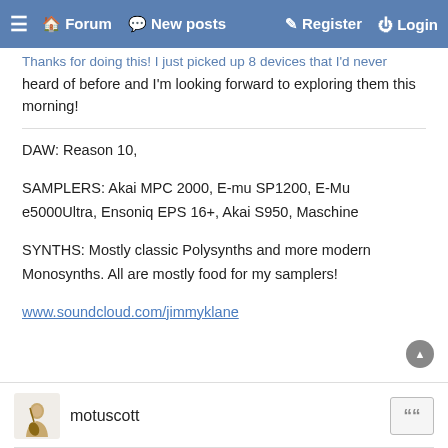≡ 🏠 Forum 💬 New posts ✎ Register ⏻ Login
Thanks for doing this! I just picked up 8 devices that I'd never heard of before and I'm looking forward to exploring them this morning!
DAW: Reason 10,

SAMPLERS: Akai MPC 2000, E-mu SP1200, E-Mu e5000Ultra, Ensoniq EPS 16+, Akai S950, Maschine

SYNTHS: Mostly classic Polysynths and more modern Monosynths. All are mostly food for my samplers!

www.soundcloud.com/jimmyklane
motuscott
20 May 2018